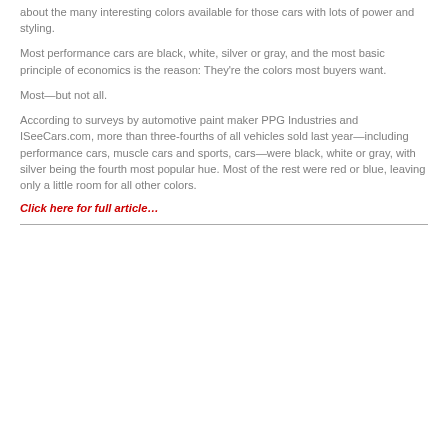about the many interesting colors available for those cars with lots of power and styling.
Most performance cars are black, white, silver or gray, and the most basic principle of economics is the reason: They're the colors most buyers want.
Most—but not all.
According to surveys by automotive paint maker PPG Industries and ISeeCars.com, more than three-fourths of all vehicles sold last year—including performance cars, muscle cars and sports, cars—were black, white or gray, with silver being the fourth most popular hue. Most of the rest were red or blue, leaving only a little room for all other colors.
Click here for full article…